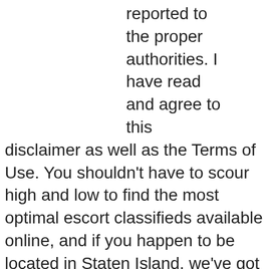reported to the proper authorities. I have read and agree to this disclaimer as well as the Terms of Use. You shouldn't have to scour high and low to find the most optimal escort classifieds available online, and if you happen to be located in Staten Island, we've got the perfect independent and agency escort classifieds for you! Our top-notch escort directory will help you not only identify the perfect date but also